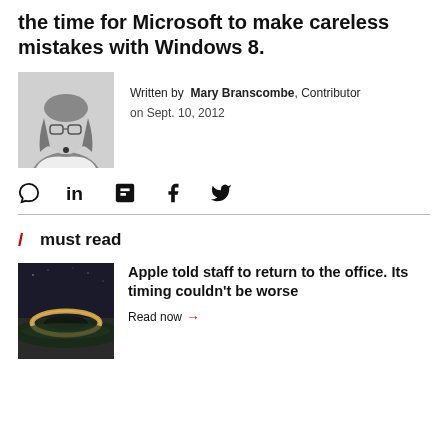the time for Microsoft to make careless mistakes with Windows 8.
[Figure (photo): Black and white headshot of Mary Branscombe, author, a woman with long light hair and glasses]
Written by Mary Branscombe, Contributor
on Sept. 10, 2012
[Figure (other): Social sharing icons: comment, LinkedIn, Flipboard, Facebook, Twitter]
/ must read
[Figure (photo): Aerial photo of Apple Park campus ring building at night]
Apple told staff to return to the office. Its timing couldn't be worse
Read now →